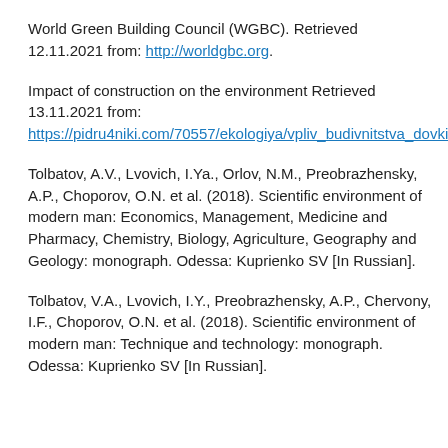World Green Building Council (WGBC). Retrieved 12.11.2021 from: http://worldgbc.org.
Impact of construction on the environment Retrieved 13.11.2021 from: https://pidru4niki.com/70557/ekologiya/vpliv_budivnitstva_dovkillya
Tolbatov, A.V., Lvovich, I.Ya., Orlov, N.M., Preobrazhensky, A.P., Choporov, O.N. et al. (2018). Scientific environment of modern man: Economics, Management, Medicine and Pharmacy, Chemistry, Biology, Agriculture, Geography and Geology: monograph. Odessa: Kuprienko SV [In Russian].
Tolbatov, V.A., Lvovich, I.Y., Preobrazhensky, A.P., Chervony, I.F., Choporov, O.N. et al. (2018). Scientific environment of modern man: Technique and technology: monograph. Odessa: Kuprienko SV [In Russian].